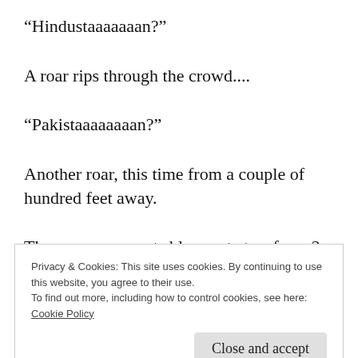“Hindustaaaaaaan?”
A roar rips through the crowd....
“Pakistaaaaaaaan?”
Another roar, this time from a couple of hundred feet away.
The announcements blare out at us from 2 men screaming into their microphones, each on
Privacy & Cookies: This site uses cookies. By continuing to use this website, you agree to their use.
To find out more, including how to control cookies, see here: Cookie Policy
Close and accept
hometown at tonight’s she hadn’t...